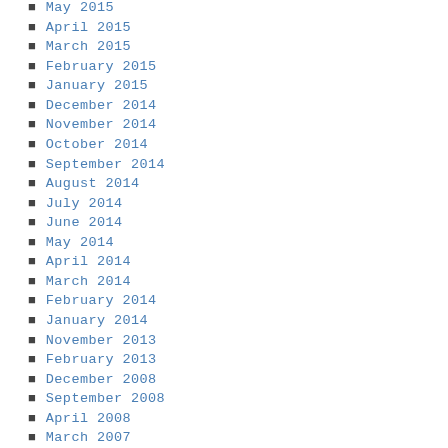May 2015
April 2015
March 2015
February 2015
January 2015
December 2014
November 2014
October 2014
September 2014
August 2014
July 2014
June 2014
May 2014
April 2014
March 2014
February 2014
January 2014
November 2013
February 2013
December 2008
September 2008
April 2008
March 2007
November 2006
August 2004
March 2004